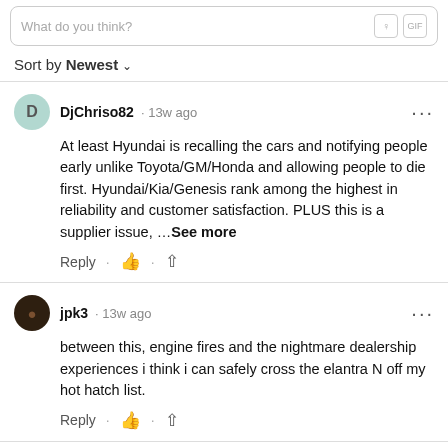What do you think?
Sort by Newest
DjChriso82 · 13w ago
At least Hyundai is recalling the cars and notifying people early unlike Toyota/GM/Honda and allowing people to die first. Hyundai/Kia/Genesis rank among the highest in reliability and customer satisfaction. PLUS this is a supplier issue, ...See more
Reply
jpk3 · 13w ago
between this, engine fires and the nightmare dealership experiences i think i can safely cross the elantra N off my hot hatch list.
Reply
DjChriso82 · 13w ago